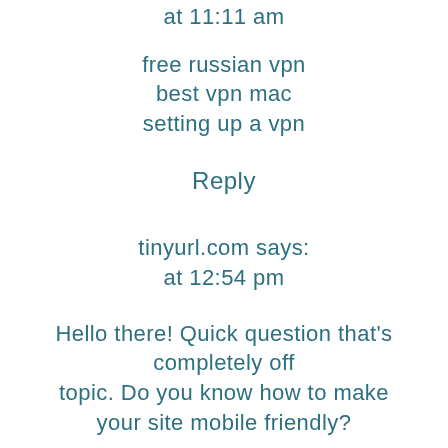at 11:11 am
free russian vpn
best vpn mac
setting up a vpn
Reply
tinyurl.com says:
at 12:54 pm
Hello there! Quick question that's completely off topic. Do you know how to make your site mobile friendly?